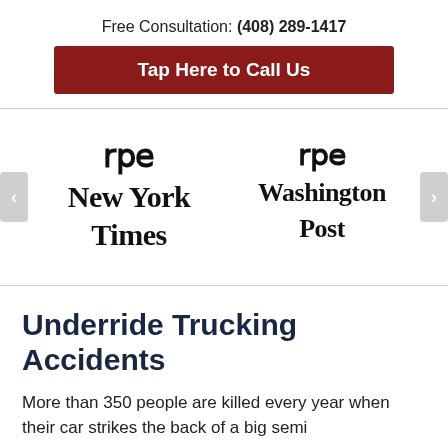Free Consultation: (408) 289-1417
Tap Here to Call Us
[Figure (logo): The New York Times logo in blackletter/gothic font]
[Figure (logo): The Washington Post logo in blackletter/gothic font]
Underride Trucking Accidents
More than 350 people are killed every year when their car strikes the back of a big semi